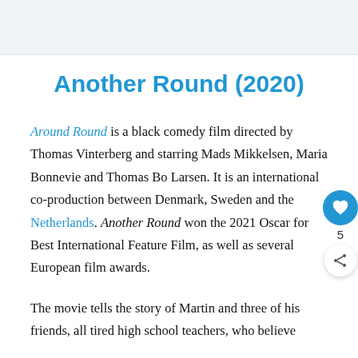Another Round (2020)
Around Round is a black comedy film directed by Thomas Vinterberg and starring Mads Mikkelsen, Maria Bonnevie and Thomas Bo Larsen. It is an international co-production between Denmark, Sweden and the Netherlands. Another Round won the 2021 Oscar for Best International Feature Film, as well as several European film awards.
The movie tells the story of Martin and three of his friends, all tired high school teachers, who believe